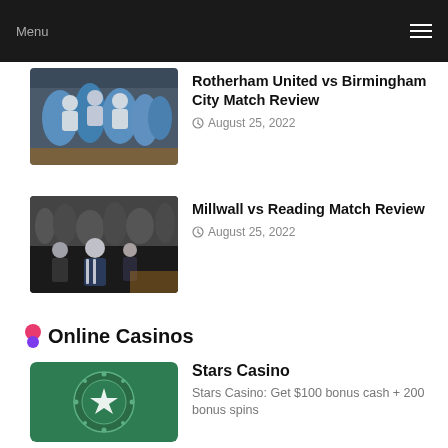Menu
Rotherham United vs Birmingham City Match Review
August 25, 2022
[Figure (photo): Football players celebrating on a pitch, wearing blue and white kits]
Millwall vs Reading Match Review
August 25, 2022
[Figure (photo): Football manager or referee standing on the sideline with crowd in background]
Online Casinos
Stars Casino
Stars Casino: Get $100 bonus cash + 200 bonus spins
[Figure (logo): Stars Casino green logo with circular poker chip design]